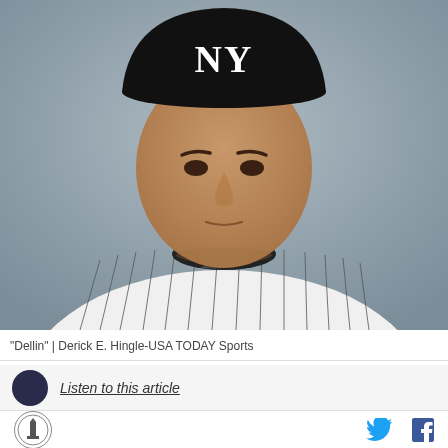[Figure (photo): Headshot of Dellin Betances wearing New York Yankees pinstripe uniform and black NY cap, looking directly at camera, gray background. Photo by Derick E. Hingle-USA TODAY Sports.]
"Dellin" | Derick E. Hingle-USA TODAY Sports
Listen to this article